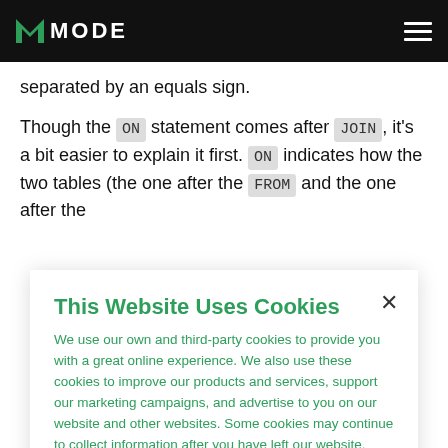MODE
separated by an equals sign.
Though the ON statement comes after JOIN, it's a bit easier to explain it first. ON indicates how the two tables (the one after the FROM and the one after the
This Website Uses Cookies
We use our own and third-party cookies to provide you with a great online experience. We also use these cookies to improve our products and services, support our marketing campaigns, and advertise to you on our website and other websites. Some cookies may continue to collect information after you have left our website. Learn more here ›
Cookies Settings ›
Accept Cookies